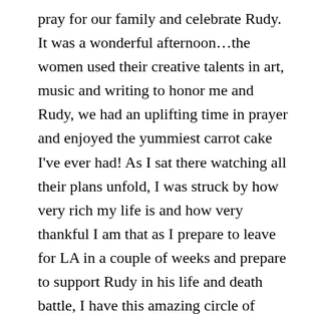pray for our family and celebrate Rudy.  It was a wonderful afternoon…the women used their creative talents in art, music and writing to honor me and Rudy, we had an uplifting time in prayer and enjoyed the yummiest carrot cake I've ever had!  As I sat there watching all their plans unfold, I was struck by how very rich my life is and how very thankful I am that as I prepare to leave for LA in a couple of weeks and prepare to support Rudy in his life and death battle, I have this amazing circle of heros that inspire and encourage me.
I just had to share with you a poem one of the gals at Bethel House wrote for me and Rolf…precious!
AND SO HE CHOSE YOU